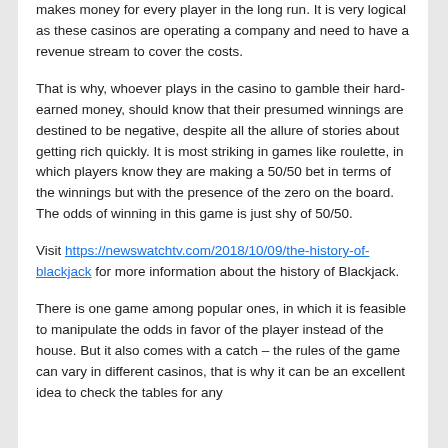makes money for every player in the long run. It is very logical as these casinos are operating a company and need to have a revenue stream to cover the costs.
That is why, whoever plays in the casino to gamble their hard-earned money, should know that their presumed winnings are destined to be negative, despite all the allure of stories about getting rich quickly. It is most striking in games like roulette, in which players know they are making a 50/50 bet in terms of the winnings but with the presence of the zero on the board. The odds of winning in this game is just shy of 50/50.
Visit https://newswatchtv.com/2018/10/09/the-history-of-blackjack for more information about the history of Blackjack.
There is one game among popular ones, in which it is feasible to manipulate the odds in favor of the player instead of the house. But it also comes with a catch – the rules of the game can vary in different casinos, that is why it can be an excellent idea to check the tables for any